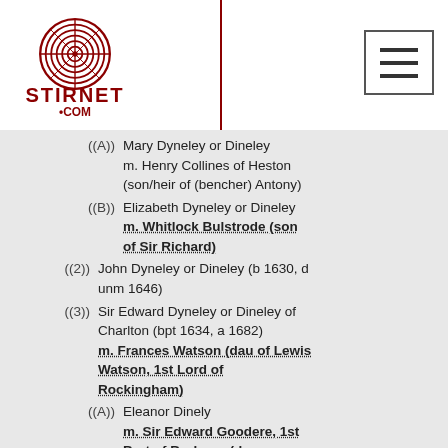Stirnet.com logo and navigation
((A)) Mary Dyneley or Dineley m. Henry Collines of Heston (son/heir of (bencher) Antony)
((B)) Elizabeth Dyneley or Dineley m. Whitlock Bulstrode (son of Sir Richard)
((2)) John Dyneley or Dineley (b 1630, d unm 1646)
((3)) Sir Edward Dyneley or Dineley of Charlton (bpt 1634, a 1682) m. Frances Watson (dau of Lewis Watson, 1st Lord of Rockingham)
((A)) Eleanor Dinely m. Sir Edward Goodere, 1st Bart of Burhope (d 20.03.1730)
((B))+2 sons (d infant)
((4)) Mercy Dyneley or Dineley m1. Sir William Cookes, 1st Bart